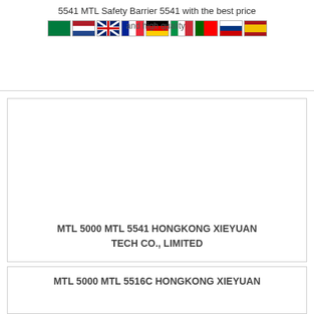5541 MTL Safety Barrier 5541 with the best price and high quality
[Figure (illustration): Row of country flag icons: Saudi Arabia, Netherlands, United Kingdom, France, Germany, Italy, Portugal, Russia, Spain]
[Figure (photo): Product image area for MTL 5000 MTL 5541 (blank/white image area)]
MTL 5000 MTL 5541 HONGKONG XIEYUAN TECH CO., LIMITED
[Figure (photo): Product image area for MTL 5000 MTL 5516C (blank/white image area)]
MTL 5000 MTL 5516C HONGKONG XIEYUAN